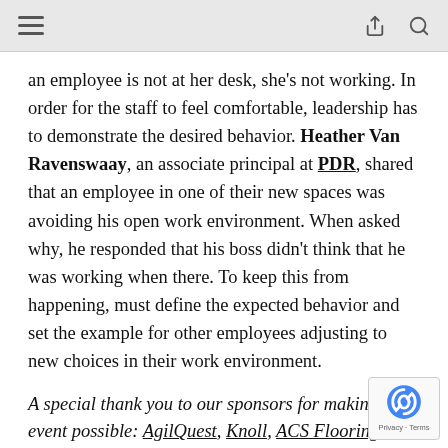[Navigation bar with hamburger menu, share icon, and search icon]
an employee is not at her desk, she's not working. In order for the staff to feel comfortable, leadership has to demonstrate the desired behavior. Heather Van Ravenswaay, an associate principal at PDR, shared that an employee in one of their new spaces was avoiding his open work environment. When asked why, he responded that his boss didn't think that he was working when there. To keep this from happening, must define the expected behavior and set the example for other employees adjusting to new choices in their work environment.
A special thank you to our sponsors for making this event possible: AgilQuest, Knoll, ACS Flooring,